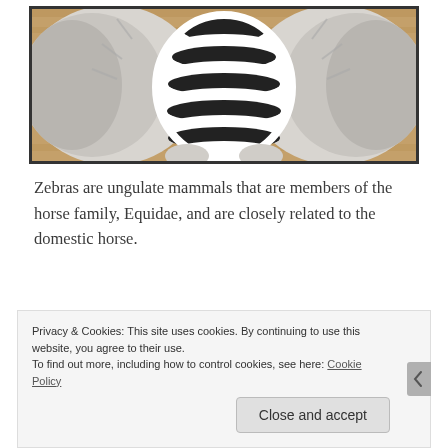[Figure (photo): A photo of a small animal (likely a ferret or cat) wearing a black and white zebra-striped outfit, viewed from above, with fur visible on either side, on a wooden floor background. The photo has a dark border.]
Zebras are ungulate mammals that are members of the horse family, Equidae, and are closely related to the domestic horse.
Privacy & Cookies: This site uses cookies. By continuing to use this website, you agree to their use.
To find out more, including how to control cookies, see here: Cookie Policy